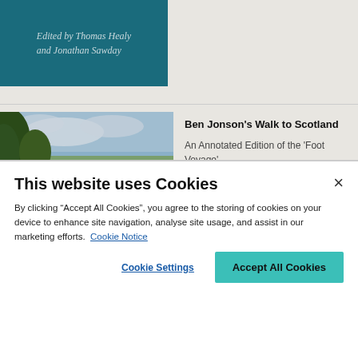[Figure (illustration): Book cover with teal/dark cyan background showing text 'Edited by Thomas Healy and Jonathan Sawday' in italic serif font]
[Figure (photo): Landscape painting showing a country road scene with trees, travelers, and a wide scenic vista under a cloudy sky]
Ben Jonson's Walk to Scotland
An Annotated Edition of the 'Foot Voyage'
This website uses Cookies
By clicking “Accept All Cookies”, you agree to the storing of cookies on your device to enhance site navigation, analyse site usage, and assist in our marketing efforts.  Cookie Notice